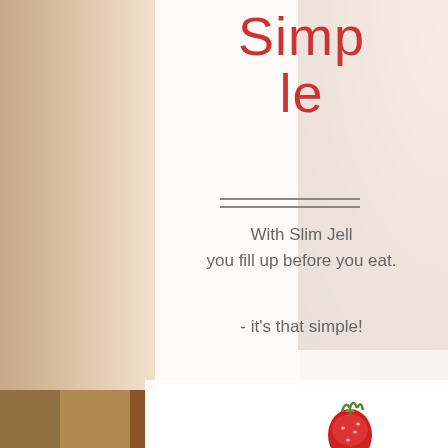[Figure (photo): Woman's face smiling, light background, hair visible on left and right sides]
Simple
[Figure (illustration): Double horizontal line decorative separator]
With Slim Jell you fill up before you eat.

- it's that simple!
[Figure (photo): Woman with curly brown hair, lower portion]
[Figure (illustration): Red illustration of a slice of cake with a strawberry on top]